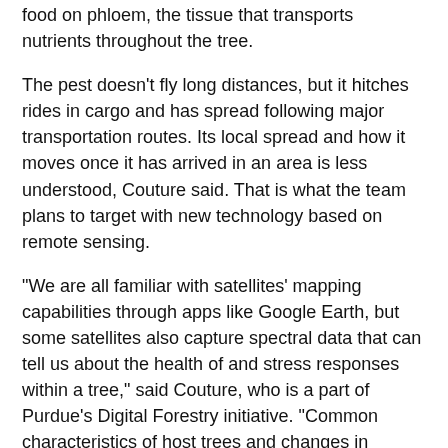food on phloem, the tissue that transports nutrients throughout the tree.
The pest doesn't fly long distances, but it hitches rides in cargo and has spread following major transportation routes. Its local spread and how it moves once it has arrived in an area is less understood, Couture said. That is what the team plans to target with new technology based on remote sensing.
“We are all familiar with satellites’ mapping capabilities through apps like Google Earth, but some satellites also capture spectral data that can tell us about the health of and stress responses within a tree,” said Couture, who is a part of Purdue’s Digital Forestry initiative. “Common characteristics of host trees and changes in infested trees may reveal what makes them attractive to this invasive species. We don’t know why the lanternfly chooses certain tree species and prefers different hosts at different stages of its life, but we hope to find out.
A second element of the research will also look at